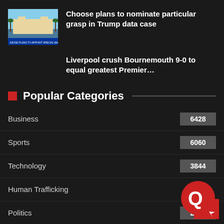[Figure (photo): Thumbnail image of a waterfront property or estate (appears to be Mar-a-Lago or similar)]
Choose plans to nominate particular grasp in Trump data case
Liverpool crush Bournemouth 9-0 to equal greatest Premier…
Popular Categories
Business  6428
Sports  6060
Technology  3844
Human Trafficking
Politics  2271
[Figure (logo): Red circular logo with white swirl/Q design, overlaid in bottom-right corner]